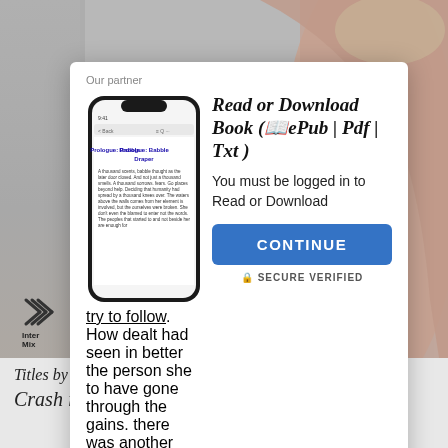[Figure (screenshot): Screenshot of a popup modal over a background photo of a person's back. The modal shows 'Our partner', a phone mockup with book content, heading 'Read or Download Book (📖ePub | Pdf | Txt)', text 'You must be logged in to Read or Download', a blue CONTINUE button, and 'SECURE VERIFIED' text. Below popup is 'Close X'. The InterMix logo appears at bottom left of the photo.]
Our partner
Read or Download Book (📖ePub | Pdf | Txt )
You must be logged in to Read or Download
CONTINUE
🔒 SECURE VERIFIED
Close X
Titles by Roni Loren
Crash into You